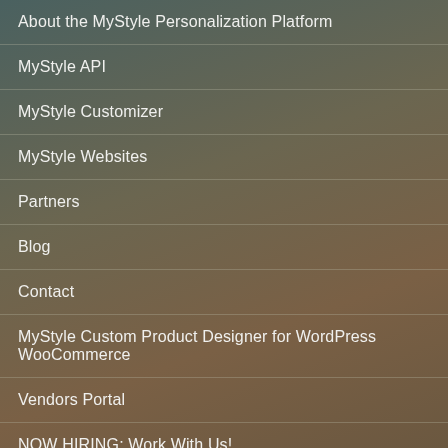About the MyStyle Personalization Platform
MyStyle API
MyStyle Customizer
MyStyle Websites
Partners
Blog
Contact
MyStyle Custom Product Designer for WordPress WooCommerce
Vendors Portal
NOW HIRING: Work With Us!
MARKETPLACE CATEGORIES